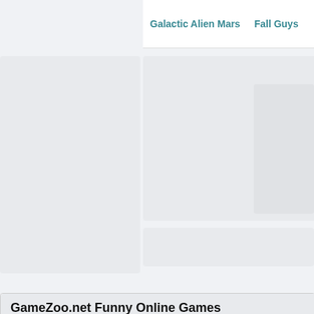Galactic Alien Mars    Fall Guys
[Figure (other): Website navigation and placeholder image/ad areas on a gaming website (GameZoo.net), showing grey card placeholders]
GameZoo.net Funny Online Games
Welcome to gamezoo.net, Our arcade features a selection 4 many more free Multiplayer games.
Welcome to Gamezoo.net, we have collected many funny ga If you are an exciting soul and wish to take advantage of the that individuals enjoyed with the game? The car games onli There is generally parking car games where a parking area involved. You must do this kind of without crashes suitable p difficult that whenever you do lock up you in turn become su The are car games would be the most fun books is capable